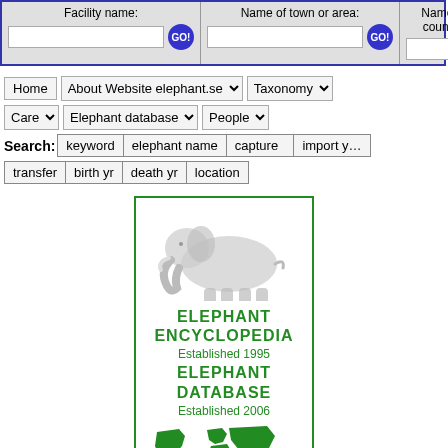[Figure (screenshot): Top search bar with three fields: Facility name, Name of town or area, Name of country, each with GO! buttons and text input boxes]
[Figure (screenshot): Navigation menu with Home, About Website elephant.se, Taxonomy, Care, Elephant database, People dropdowns, and Search fields including keyword, elephant name, capture, import yr, transfer, birth yr, death yr, location]
[Figure (illustration): Elephant Encyclopedia and Elephant Database card with elephant illustration, world map, green border, established dates 1995 and 2006]